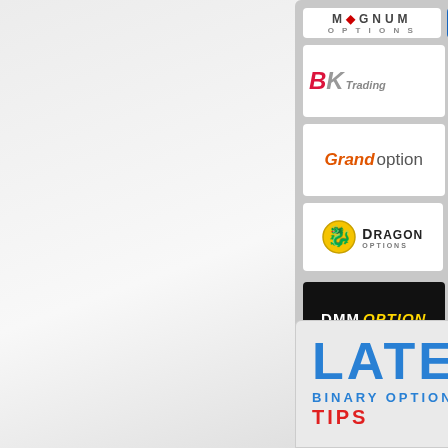[Figure (screenshot): Binary options broker logos grid panel (partially visible, right side cropped). Rows include: Magnum Options, BP Options, BK Trading, SCA Trading, Grand Option, MyOption, Dragon Options, P:Options, DMM Option, Interactive Option, Binary Option Trading Platform, 247Binary.]
[Figure (screenshot): Latest Binary Options Tips box with large blue 'LATEST' heading, blue 'BINARY OPTIONS' subtitle, and red 'TIPS' text below.]